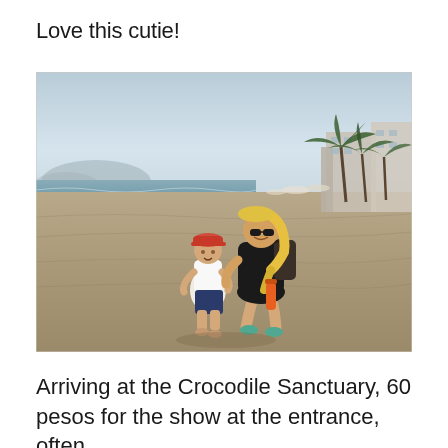Love this cutie!
[Figure (photo): A woman with sunglasses and a braid crouches on a sandy beach next to a young child wearing a colorful cap and white t-shirt. Palm trees, beach umbrellas, and buildings are visible in the background on the right, and the ocean is visible on the left.]
Arriving at the Crocodile Sanctuary, 60 pesos for the show at the entrance, often